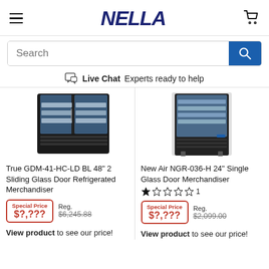NELLA — navigation header with hamburger menu, logo, and cart icon
Search
Live Chat  Experts ready to help
[Figure (photo): True GDM-41-HC-LD BL refrigerated merchandiser with sliding glass doors showing beverages inside, black exterior]
True GDM-41-HC-LD BL 48" 2 Sliding Glass Door Refrigerated Merchandiser
Special Price $?,??? Reg. $6,245.88
View product to see our price!
[Figure (photo): New Air NGR-036-H 24" single glass door merchandiser showing beverages inside, black and silver exterior]
New Air NGR-036-H 24" Single Glass Door Merchandiser
1 star rating (1 review)
Special Price $?,??? Reg. $2,099.00
View product to see our price!